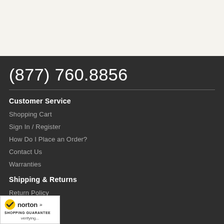(877) 760.8856
Customer Service
Shopping Cart
Sign In / Register
How Do I Place an Order?
Contact Us
Warranties
Shipping & Returns
Return Policy
...oducts
...lation
[Figure (logo): Norton Shopping Guarantee badge with checkmark logo and 'verifying...' text]